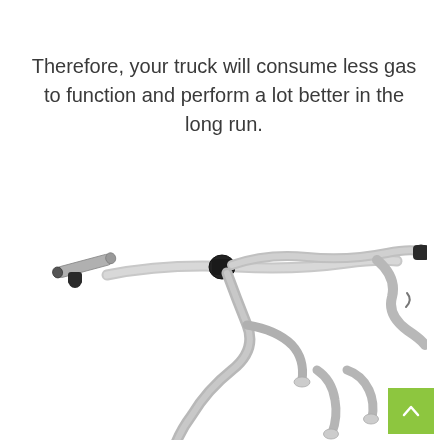Therefore, your truck will consume less gas to function and perform a lot better in the long run.
[Figure (photo): A truck exhaust system kit laid out on a white background, showing chrome/aluminum pipes and black rubber-tipped tips forming a dual exhaust system with various bends and connectors.]